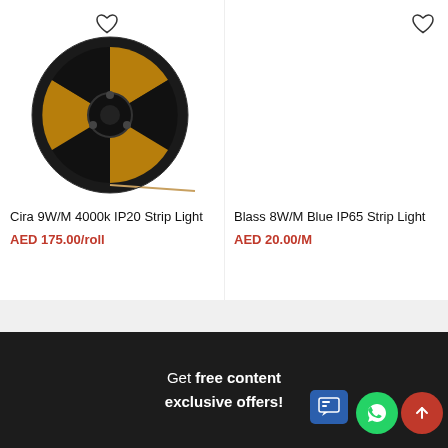[Figure (photo): Reel of warm white LED strip light (Cira 9W/M 4000k IP20 Strip Light) on a circular black spool]
Cira 9W/M 4000k IP20 Strip Light
AED 175.00/roll
[Figure (photo): Spool of blue LED strip light (Blass 8W/M Blue IP65 Strip Light) with SOLD OUT overlay banner]
Blass 8W/M Blue IP65 Strip Light
AED 20.00/M
Get free content exclusive offers!